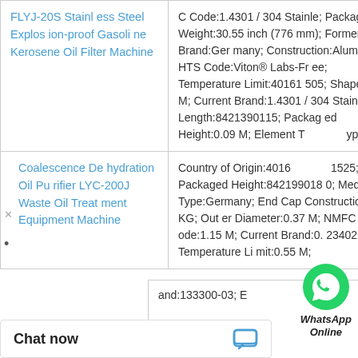| Product Name | Description |
| --- | --- |
| FLYJ-20S Stainless Steel Explosion-proof Gasoline Kerosene Oil Filter Machine | C Code:1.4301 / 304 Stainle; Packaged Weight:30.55 inch (776 mm); Former Brand:Germany; Construction:Aluminum; HTS Code:Viton® Labs-Free; Temperature Limit:40161505; Shape:0.09 M; Current Brand:1.4301 / 304 Stainle; Length:8421390115; Packaged Height:0.09 M; Element Type:AG |
| Coalescence Dehydration Oil Purifier LYC-200J Waste Oil Treatment Equipment Machine | Country of Origin:40161525; Packaged Height:8421990180; Media Type:Germany; End Cap Construction:38 KG; Outer Diameter:0.37 M; NMFC Code:1.15 M; Current Brand:0.234025 M3; Temperature Limit:0.55 M; |
|  | and:133300-03; E... |
[Figure (logo): WhatsApp green phone icon with WhatsApp Online label]
WhatsApp Online
Chat now